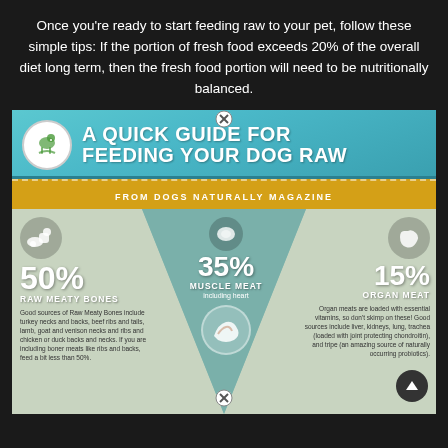Once you're ready to start feeding raw to your pet, follow these simple tips: If the portion of fresh food exceeds 20% of the overall diet long term, then the fresh food portion will need to be nutritionally balanced.
[Figure (infographic): Infographic titled 'A Quick Guide for Feeding Your Dog Raw' from Dogs Naturally Magazine. Shows three sections: 50% Raw Meaty Bones (left), 35% Muscle Meat including heart (center), 15% Organ Meat (right), arranged in a triangle/funnel shape with icons and descriptive text for each category.]